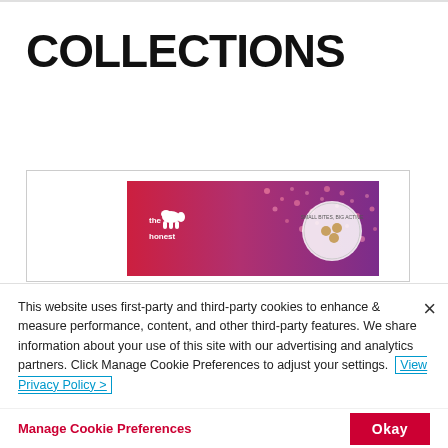COLLECTIONS
[Figure (photo): Product image showing 'the honest' brand packaging with red and purple colors, featuring small treats/kibble and a circular logo badge]
This website uses first-party and third-party cookies to enhance & measure performance, content, and other third-party features. We share information about your use of this site with our advertising and analytics partners. Click Manage Cookie Preferences to adjust your settings. View Privacy Policy >
Manage Cookie Preferences
Okay